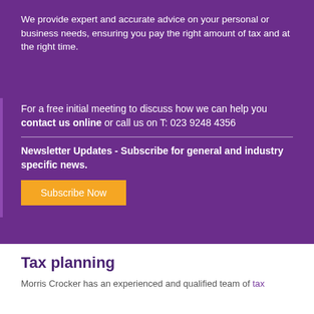We provide expert and accurate advice on your personal or business needs, ensuring you pay the right amount of tax and at the right time.
For a free initial meeting to discuss how we can help you contact us online or call us on T: 023 9248 4356
Newsletter Updates - Subscribe for general and industry specific news.
Subscribe Now
Tax planning
Morris Crocker has an experienced and qualified team of tax